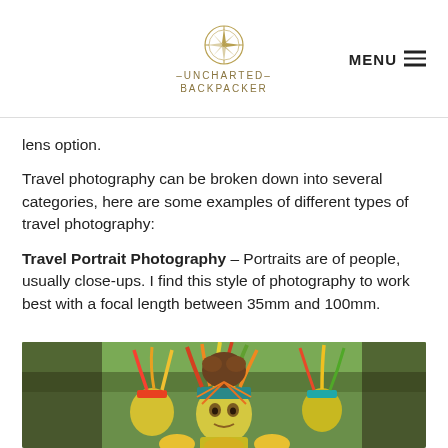UNCHARTED BACKPACKER — MENU
lens option.
Travel photography can be broken down into several categories, here are some examples of different types of travel photography:
Travel Portrait Photography – Portraits are of people, usually close-ups. I find this style of photography to work best with a focal length between 35mm and 100mm.
[Figure (photo): A colorful portrait photo of a person in traditional festival costume with feathered headdress and face paint, appearing to be from Papua New Guinea or similar culture.]